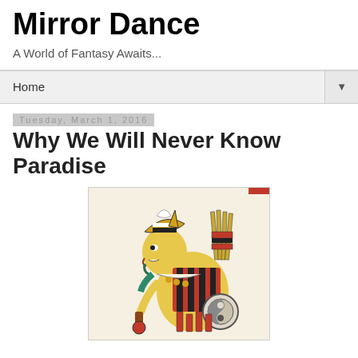Mirror Dance
A World of Fantasy Awaits...
Home
Tuesday, March 1, 2016
Why We Will Never Know Paradise
[Figure (illustration): Aztec deity or warrior figure in traditional codex style, facing left in profile with elaborate headdress, ornate costume with red and black elements, holding implements, rendered in the style of a Mesoamerican manuscript illustration on cream/tan background]